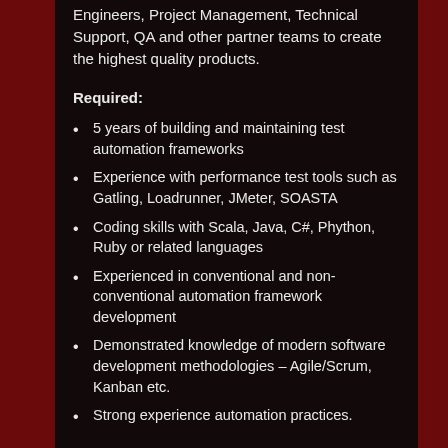Engineers, Project Management, Technical Support, QA and other partner teams to create the highest quality products.
Required:
5 years of building and maintaining test automation frameworks
Experience with performance test tools such as Gatling, Loadrunner, JMeter, SOASTA
Coding skills with Scala, Java, C#, Phython, Ruby or related languages
Experienced in conventional and non-conventional automation framework development
Demonstrated knowledge of modern software development methodologies – Agile/Scrum, Kanban etc.
Strong experience automation practices.